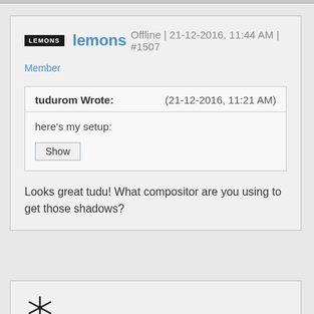lemons Offline | 21-12-2016, 11:44 AM | #1507
Member
tudurom Wrote: (21-12-2016, 11:21 AM)
here's my setup:
Show
Looks great tudu! What compositor are you using to get those shadows?